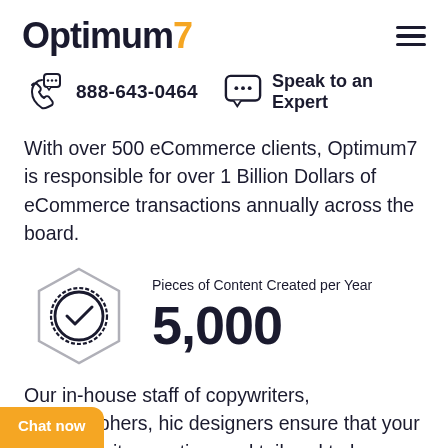Optimum7
888-643-0464   Speak to an Expert
With over 500 eCommerce clients, Optimum7 is responsible for over 1 Billion Dollars of eCommerce transactions annually across the board.
[Figure (infographic): Hexagon icon with checkmark badge inside, next to stat: 5,000 Pieces of Content Created per Year]
Our in-house staff of copywriters, videographers, hic designers ensure that your content is ity, creative, and tailored to be on-brand